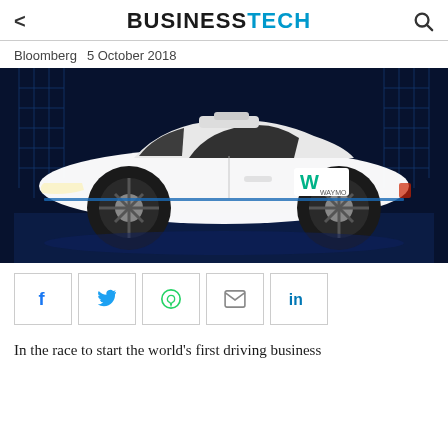< BUSINESSTECH Q
Bloomberg  5 October 2018
[Figure (photo): White Waymo self-driving Jaguar I-Pace electric SUV with sensor array on roof, photographed against a dark blue technology-themed background with digital wireframe architecture patterns]
[Figure (infographic): Social media share buttons row: Facebook (f), Twitter (bird), WhatsApp (phone), Email (envelope), LinkedIn (in)]
In the race to start the world's first driving business